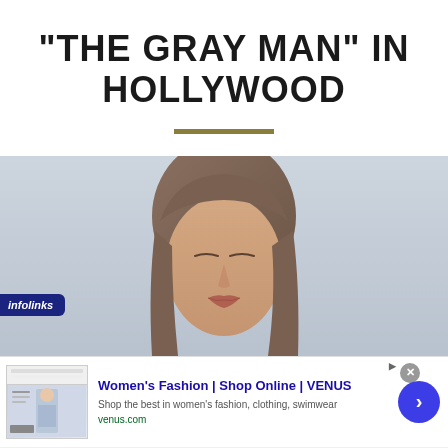"THE GRAY MAN" IN HOLLYWOOD
[Figure (photo): Close-up photo of a young woman with long brown hair, eyes closed, against a light gray sky background]
[Figure (other): Online advertisement for Women's Fashion | Shop Online | VENUS - Shop the best in women's fashion, clothing, swimwear - venus.com]